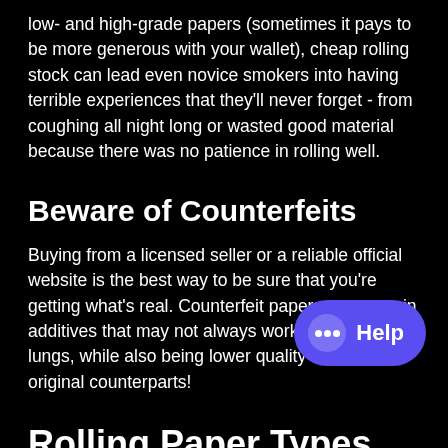low- and high-grade papers (sometimes it pays to be more generous with your wallet), cheap rolling stock can lead even novice smokers into having terrible experiences that they'll never forget - from coughing all night long or wasted good material because there was no patience in rolling well.
Beware of Counterfeits
Buying from a licensed seller or a reliable official website is the best way to be sure that you're getting what's real. Counterfeit papers can contain additives that may not always work well for your lungs, while also being lower quality than their original counterparts!
Rolling Paper Types With Recommendations
[Figure (other): Blue rounded Help chat button with speech bubble icon and 'Help' label]